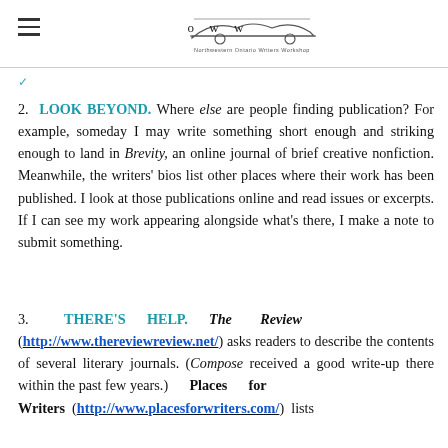NOWW — Northwestern Ontario Writers Workshop logo and navigation
2. LOOK BEYOND. Where else are people finding publication? For example, someday I may write something short enough and striking enough to land in Brevity, an online journal of brief creative nonfiction. Meanwhile, the writers' bios list other places where their work has been published. I look at those publications online and read issues or excerpts. If I can see my work appearing alongside what's there, I make a note to submit something.
3. THERE'S HELP. The Review (http://www.thereviewreview.net/) asks readers to describe the contents of several literary journals. (Compose received a good write-up there within the past few years.) Places for Writers (http://www.placesforwriters.com/) lists